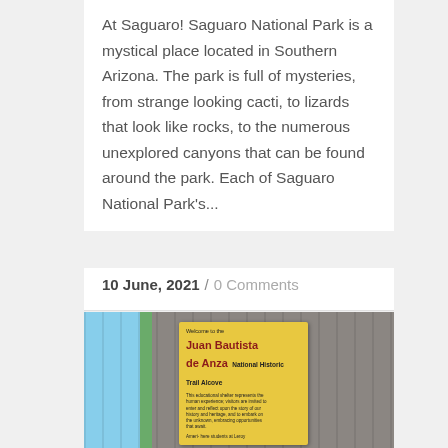At Saguaro! Saguaro National Park is a mystical place located in Southern Arizona. The park is full of mysteries, from strange looking cacti, to lizards that look like rocks, to the numerous unexplored canyons that can be found around the park. Each of Saguaro National Park's...
10 June, 2021 / 0 Comments
[Figure (photo): A yellow sign reading 'Welcome to the Juan Bautista de Anza National Historic Trail Alcove' mounted on weathered wooden fence boards, with trees and blue sky visible on the left side.]